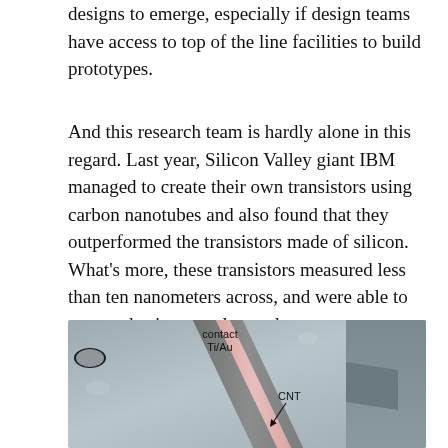designs to emerge, especially if design teams have access to top of the line facilities to build prototypes.
And this research team is hardly alone in this regard. Last year, Silicon Valley giant IBM managed to create their own transistors using carbon nanotubes and also found that they outperformed the transistors made of silicon. What’s more, these transistors measured less than ten nanometers across, and were able to operated using very low voltage.
[Figure (photo): Scanning electron microscope image of a carbon nanotube (CNT) transistor showing the CNT crossing a Ti/Au metal contact strip on a silicon substrate surface. Labels indicate 'contact Ti/Au' and 'CNT' with an arrow pointing to the nanotube.]